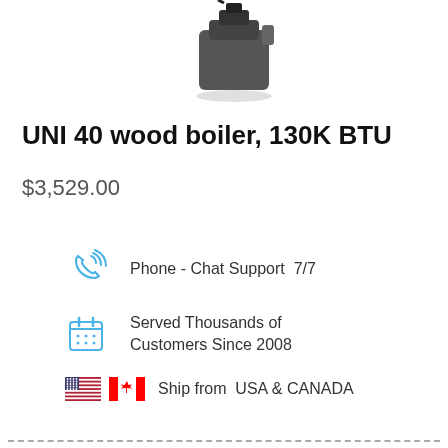[Figure (photo): Partial image of a wood boiler product, showing the top portion of the unit against a white background.]
UNI 40 wood boiler, 130K BTU
$3,529.00
Phone - Chat Support 7/7
Served Thousands of Customers Since 2008
Ship from USA & CANADA